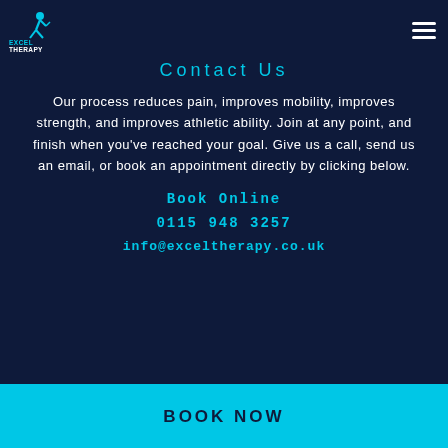[Figure (logo): Excel Therapy logo with a running/jumping figure icon in blue and the text EXCEL THERAPY below it]
Contact Us
Our process reduces pain, improves mobility, improves strength, and improves athletic ability. Join at any point, and finish when you've reached your goal. Give us a call, send us an email, or book an appointment directly by clicking below.
Book Online
0115 948 3257
info@exceltherapy.co.uk
BOOK NOW